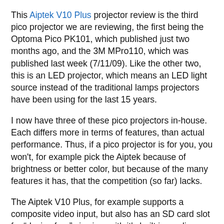This Aiptek V10 Plus projector review is the third pico projector we are reviewing, the first being the Optoma Pico PK101, which published just two months ago, and the 3M MPro110, which was published last week (7/11/09). Like the other two, this is an LED projector, which means an LED light source instead of the traditional lamps projectors have been using for the last 15 years.
I now have three of these pico projectors in-house. Each differs more in terms of features, than actual performance. Thus, if a pico projector is for you, you won't, for example pick the Aiptek because of brightness or better color, but because of the many features it has, that the competition (so far) lacks.
The Aiptek V10 Plus, for example supports a composite video input, but also has an SD card slot for “device free” viewing, with it's built in media player. In addition to the tons of memory you can feed the projector from the SD card slot, the V10 Plus has a roughly 4GB built-in for your playlists...